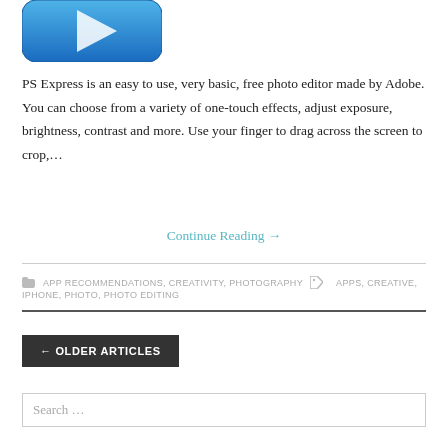[Figure (screenshot): Partial view of a blue app icon (PS Express) with a white arrow/cursor icon, rounded square shape on white background]
PS Express is an easy to use, very basic, free photo editor made by Adobe.  You can choose from a variety of one-touch effects, adjust exposure, brightness, contrast and more. Use your finger to drag across the screen to crop,…
Continue Reading →
APP RECOMMENDATIONS, CREATIVITY, PHOTOGRAPHY   APPS, CREATIVE, IPHONE, PHOTO, PHOTO EDITING
← OLDER ARTICLES
Search …